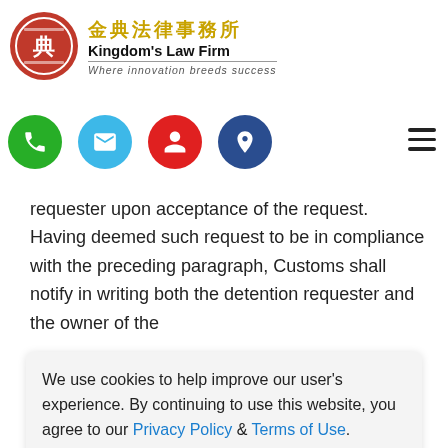[Figure (logo): Kingdom's Law Firm logo with red circular Chinese stamp icon, Chinese characters in gold, English name in bold, tagline 'Where innovation breeds success']
[Figure (infographic): Row of four colored circular contact icons: green phone, cyan email, red user, navy location pin. Hamburger menu icon on right.]
security amounting to the duty-paid price of the imported articles, as assessed by Customs, or
...promptly notify the detention requester upon acceptance of the request. Having deemed such request to be in compliance with the preceding paragraph, Customs shall notify in writing both the detention requester and the owner of the
We use cookies to help improve our user's experience. By continuing to use this website, you agree to our Privacy Policy & Terms of Use.
the procedures under applicable regulations governing customs clearance of imported articles.